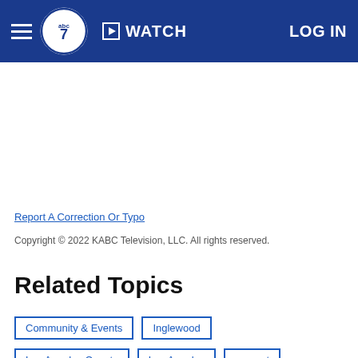abc7 | WATCH | LOG IN
Report A Correction Or Typo
Copyright © 2022 KABC Television, LLC. All rights reserved.
Related Topics
Community & Events
Inglewood
Los Angeles County
Los Angeles
concert